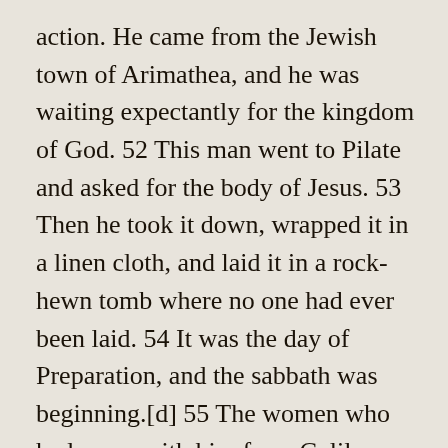action. He came from the Jewish town of Arimathea, and he was waiting expectantly for the kingdom of God. 52 This man went to Pilate and asked for the body of Jesus. 53 Then he took it down, wrapped it in a linen cloth, and laid it in a rock-hewn tomb where no one had ever been laid. 54 It was the day of Preparation, and the sabbath was beginning.[d] 55 The women who had come with him from Galilee followed, and they saw the tomb and how his body was laid. 56 Then they returned, and prepared spices and ointments.